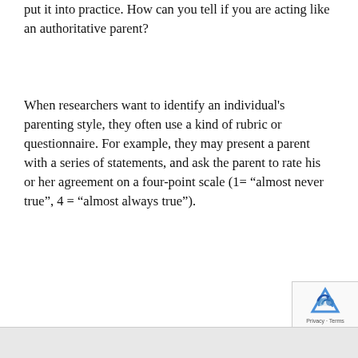put it into practice. How can you tell if you are acting like an authoritative parent?
When researchers want to identify an individual's parenting style, they often use a kind of rubric or questionnaire. For example, they may present a parent with a series of statements, and ask the parent to rate his or her agreement on a four-point scale (1= “almost never true”, 4 = “almost always true”).